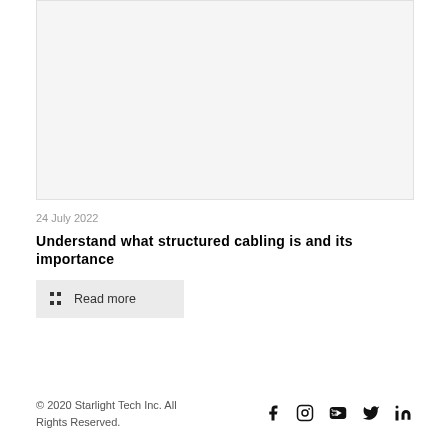[Figure (photo): Article thumbnail image placeholder (light gray rectangle)]
24 July 2022
Understand what structured cabling is and its importance
Read more
© 2020 Starlight Tech Inc. All Rights Reserved.